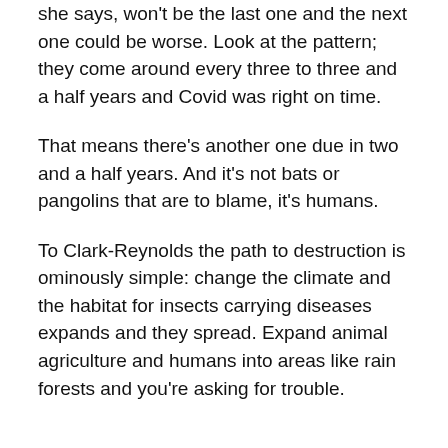she says, won't be the last one and the next one could be worse. Look at the pattern; they come around every three to three and a half years and Covid was right on time.
That means there's another one due in two and a half years. And it's not bats or pangolins that are to blame, it's humans.
To Clark-Reynolds the path to destruction is ominously simple: change the climate and the habitat for insects carrying diseases expands and they spread. Expand animal agriculture and humans into areas like rain forests and you're asking for trouble.